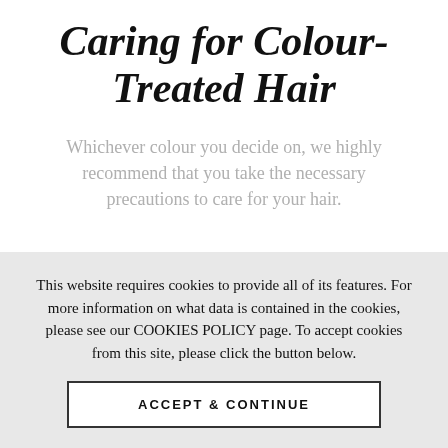Caring for Colour-Treated Hair
Whichever colour you decide on, we highly recommend that you take the necessary precautions to care for your hair.
This website requires cookies to provide all of its features. For more information on what data is contained in the cookies, please see our COOKIES POLICY page. To accept cookies from this site, please click the button below.
ACCEPT & CONTINUE